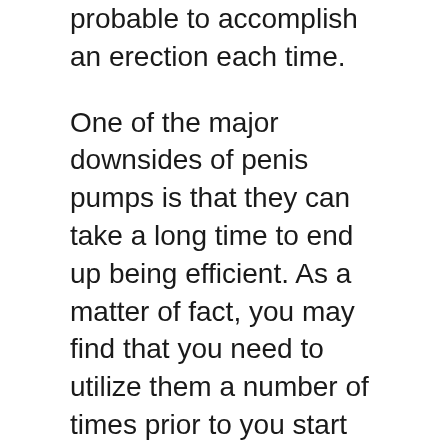probable to accomplish an erection each time.
One of the major downsides of penis pumps is that they can take a long time to end up being efficient. As a matter of fact, you may find that you need to utilize them a number of times prior to you start to see any type of outcomes. This can be aggravating, especially if you resemble most guys that only have restricted resources. As a result of this, lots of guys look in the direction of the penis pump vacuum pumps as an option.
Although water-based penis pumps are a great choice, you also require to consider exactly how simple they are to clean up. Since the penis is little moisture around